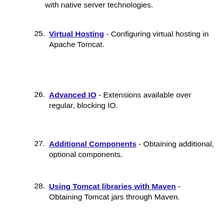with native server technologies.
25. Virtual Hosting - Configuring virtual hosting in Apache Tomcat.
26. Advanced IO - Extensions available over regular, blocking IO.
27. Additional Components - Obtaining additional, optional components.
28. Using Tomcat libraries with Maven - Obtaining Tomcat jars through Maven.
29. Security Considerations - Options to consider when securing an Apache Tomcat installation.
30. Windows Service - Running Tomcat as a